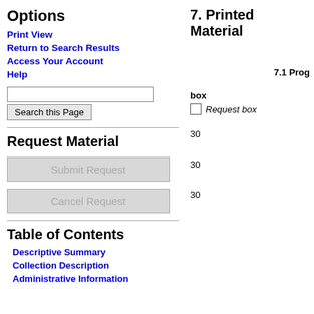Options
Print View
Return to Search Results
Access Your Account
Help
Request Material
Submit Request
Cancel Request
Table of Contents
Descriptive Summary
Collection Description
Administrative Information
7. Printed Material
7.1 Prog
box
Request box
30
30
30